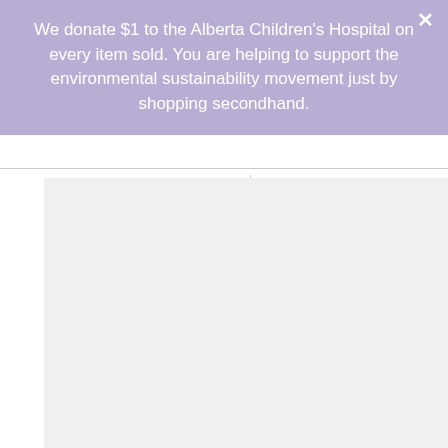We donate $1 to the Alberta Children's Hospital on every item sold. You are helping to support the environmental sustainability movement just by shopping secondhand.
[Figure (photo): Product image placeholder (light gray background) for baby girl clothing item on the left]
[Figure (photo): Product image placeholder (light gray background) for baby girl clothing item on the right]
BABY GIRL SIZE 6/9 MONTHS - Cat & Jack
BABY GIRL SIZE 6/9 MONTHS - Cat & Jack Matching 2 Piece Summer Outfit NWT